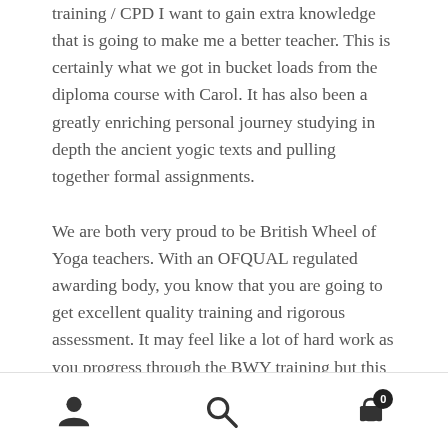training / CPD I want to gain extra knowledge that is going to make me a better teacher. This is certainly what we got in bucket loads from the diploma course with Carol. It has also been a greatly enriching personal journey studying in depth the ancient yogic texts and pulling together formal assignments.
We are both very proud to be British Wheel of Yoga teachers. With an OFQUAL regulated awarding body, you know that you are going to get excellent quality training and rigorous assessment. It may feel like a lot of hard work as you progress through the BWY training but this is exactly why it is worth it. You come out the other end of the training prepared and ready to teach yoga to all ability classes. The staged approach to teaching that the BWY
navigation icons: account, search, cart (0)